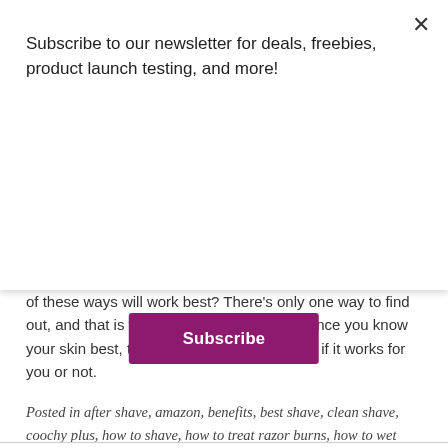Subscribe to our newsletter for deals, freebies, product launch testing, and more!
[Figure (other): Purple Subscribe button]
of these ways will work best? There's only one way to find out, and that is to try various routines and since you know your skin best, try one, or all, of them to see if it works for you or not.
Posted in after shave, amazon, benefits, best shave, clean shave, coochy plus, how to shave, how to treat razor burns, how to wet shave, intimate, mens shaving, pubic, pubic shaving, womens shaving
READ MORE